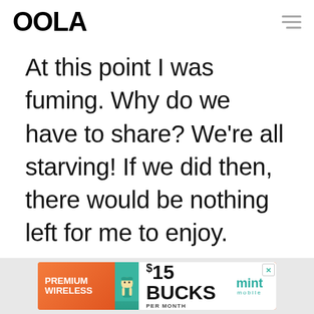OOLA
At this point I was fuming. Why do we have to share? We're all starving! If we did then, there would be nothing left for me to enjoy.
- ADVERTISEMENT - CONTINUE READING BELOW -
[Figure (screenshot): Mint Mobile advertisement banner: PREMIUM WIRELESS | $15 BUCKS PER MONTH | mint mobile]